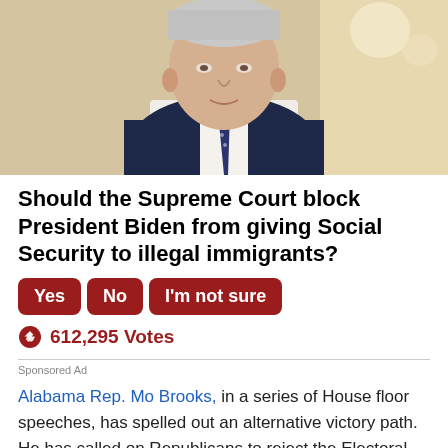[Figure (photo): Photo of President Biden in a navy suit and patterned tie, speaking, with a warm golden background.]
Should the Supreme Court block President Biden from giving Social Security to illegal immigrants?
Yes
No
I'm not sure
612,295 Votes
Sponsored Ad
Alabama Rep. Mo Brooks, in a series of House floor speeches, has spelled out an alternative victory path. He has called on Republicans to reject the Electoral Vote counts from states where there are questions about ballot fraud. That would lead to no candidate getting the